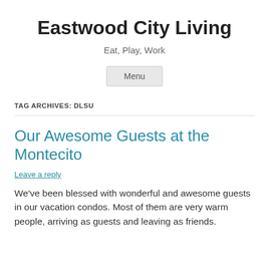Eastwood City Living
Eat, Play, Work
Menu
TAG ARCHIVES: DLSU
Our Awesome Guests at the Montecito
Leave a reply
We've been blessed with wonderful and awesome guests in our vacation condos. Most of them are very warm people, arriving as guests and leaving as friends.